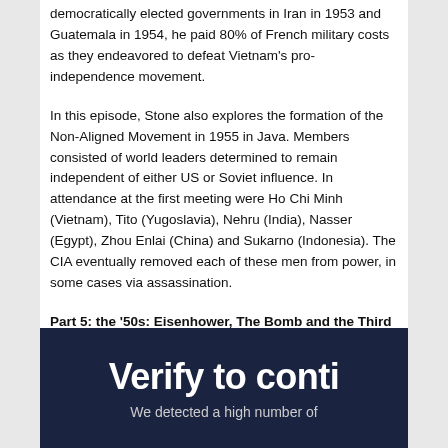democratically elected governments in Iran in 1953 and Guatemala in 1954, he paid 80% of French military costs as they endeavored to defeat Vietnam's pro-independence movement.
In this episode, Stone also explores the formation of the Non-Aligned Movement in 1955 in Java. Members consisted of world leaders determined to remain independent of either US or Soviet influence. In attendance at the first meeting were Ho Chi Minh (Vietnam), Tito (Yugoslavia), Nehru (India), Nasser (Egypt), Zhou Enlai (China) and Sukarno (Indonesia). The CIA eventually removed each of these men from power, in some cases via assassination.
Part 5: the '50s: Eisenhower, The Bomb and the Third World
[Figure (screenshot): Dark navy background banner with bold white text reading 'Verify to conti' (partially cropped) and grey subtext 'We detected a high number of' (partially cropped)]